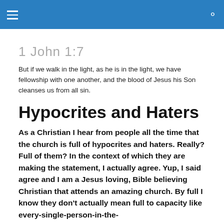1 John 1:7
But if we walk in the light, as he is in the light, we have fellowship with one another, and the blood of Jesus his Son cleanses us from all sin.
Hypocrites and Haters
As a Christian I hear from people all the time that the church is full of hypocrites and haters. Really? Full of them? In the context of which they are making the statement, I actually agree. Yup, I said agree and I am a Jesus loving, Bible believing Christian that attends an amazing church. By full I know they don't actually mean full to capacity like every-single-person-in-the-